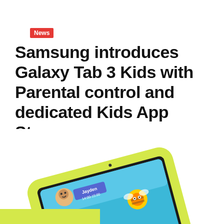News
Samsung introduces Galaxy Tab 3 Kids with Parental control and dedicated Kids App Store
By Martin Gicheru - September 1, 2013   1
[Figure (photo): Samsung Galaxy Tab 3 Kids tablet with yellow protective case, shown at an angle displaying a child's profile screen with the name 'Jayden' and time 14:00-15:00, with colorful kids app icons and a cartoon character visible on screen.]